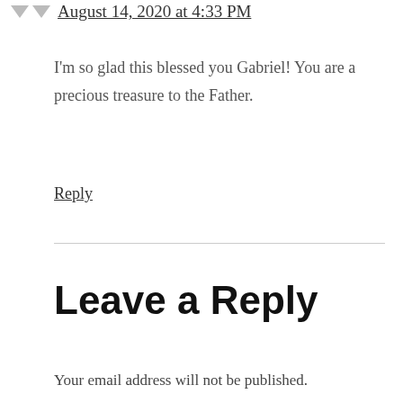August 14, 2020 at 4:33 PM
I'm so glad this blessed you Gabriel! You are a precious treasure to the Father.
Reply
Leave a Reply
Your email address will not be published.